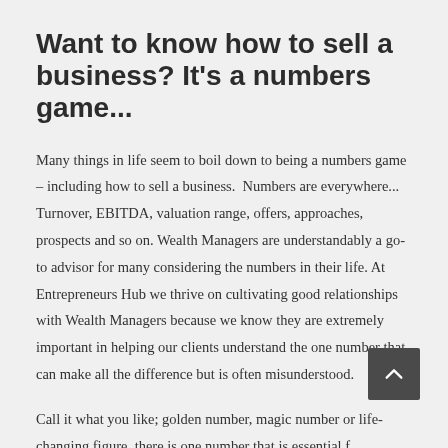Want to know how to sell a business? It's a numbers game...
Many things in life seem to boil down to being a numbers game – including how to sell a business.  Numbers are everywhere... Turnover, EBITDA, valuation range, offers, approaches, prospects and so on. Wealth Managers are understandably a go-to advisor for many considering the numbers in their life. At Entrepreneurs Hub we thrive on cultivating good relationships with Wealth Managers because we know they are extremely important in helping our clients understand the one number that can make all the difference but is often misunderstood.
Call it what you like; golden number, magic number or life-changing figure, there is one number that is essential for...